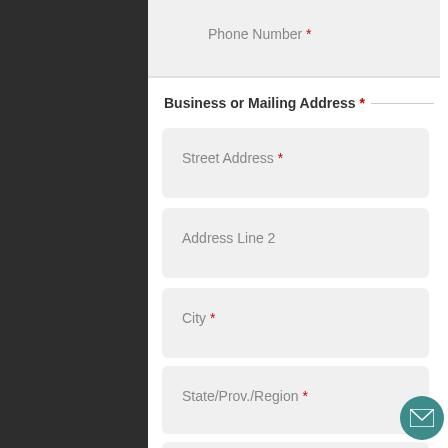Phone Number *
Business or Mailing Address *
Street Address *
Address Line 2
City *
State/Prov./Region *
ZIP/Postal *